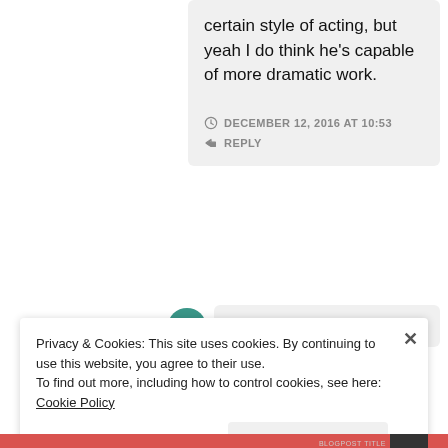certain style of acting, but yeah I do think he's capable of more dramatic work.
DECEMBER 12, 2016 AT 10:53
REPLY
Privacy & Cookies: This site uses cookies. By continuing to use this website, you agree to their use.
To find out more, including how to control cookies, see here: Cookie Policy
Close and accept